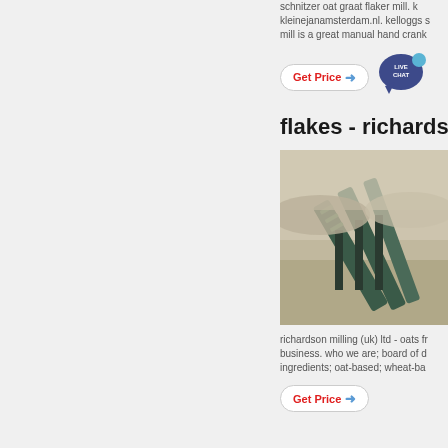schnitzer oat graat flaker mill. kleinejanamsterdam.nl. kelloggs s mill is a great manual hand crank
Get Price →
[Figure (illustration): Live chat speech bubble icon with dark purple/navy color]
flakes - richardso
[Figure (photo): Aerial view of a mining or industrial milling site with conveyor belts and machinery on dusty terrain]
richardson milling (uk) ltd - oats fr business. who we are; board of d ingredients; oat-based; wheat-ba
Get Price →